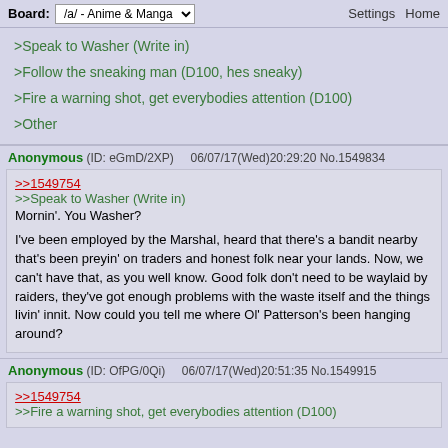Board: /a/ - Anime & Manga  Settings  Home
>Speak to Washer (Write in)
>Follow the sneaking man (D100, hes sneaky)
>Fire a warning shot, get everybodies attention (D100)
>Other
Anonymous (ID: eGmD/2XP)  06/07/17(Wed)20:29:20 No.1549834
>>1549754
>>Speak to Washer (Write in)
Mornin'. You Washer?

I've been employed by the Marshal, heard that there's a bandit nearby that's been preyin' on traders and honest folk near your lands. Now, we can't have that, as you well know. Good folk don't need to be waylaid by raiders, they've got enough problems with the waste itself and the things livin' innit. Now could you tell me where Ol' Patterson's been hanging around?
Anonymous (ID: OfPG/0Qi)  06/07/17(Wed)20:51:35 No.1549915
>>1549754
>>Fire a warning shot, get everybodies attention (D100)